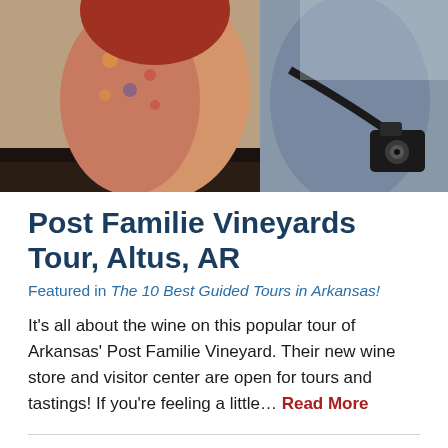[Figure (photo): Two tourists, a woman in a floral dress and a man with a camera, leaning over what appears to be a railing or vehicle window, viewed from above.]
Post Familie Vineyards Tour, Altus, AR
Featured in The 10 Best Guided Tours in Arkansas!
It's all about the wine on this popular tour of Arkansas' Post Familie Vineyard. Their new wine store and visitor center are open for tours and tastings! If you're feeling a little… Read More